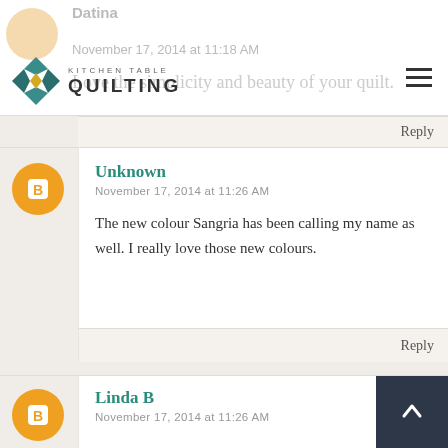Kitchen Table Quilting
Datina
November 17, 2014 at 11:18 AM
Love the simplicity and beauty of your quilt.
Reply
Unknown
November 17, 2014 at 11:26 AM
The new colour Sangria has been calling my name as well. I really love those new colours.
Reply
Linda B
November 17, 2014 at 11:26 AM
I love the quilt and the colors are awesome